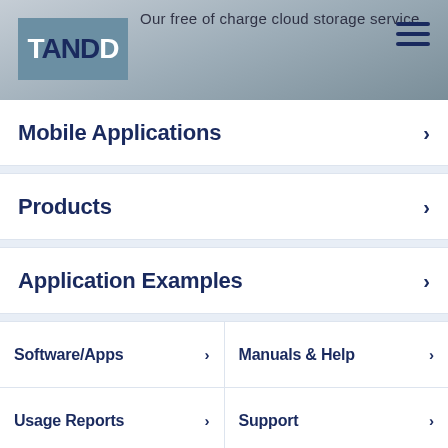Our free of charge cloud storage service
[Figure (logo): T&D logo — white T on teal/blue background with dark ANDD text]
Mobile Applications >
Products >
Application Examples >
Software/Apps >
Manuals & Help >
Usage Reports >
Support >
Purchasing >
FAQs >
About T&D >
Contact Us >